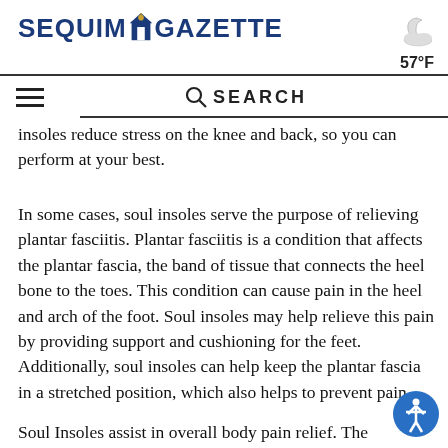SEQUIM GAZETTE
57°F
SEARCH
insoles reduce stress on the knee and back, so you can perform at your best.
In some cases, soul insoles serve the purpose of relieving plantar fasciitis. Plantar fasciitis is a condition that affects the plantar fascia, the band of tissue that connects the heel bone to the toes. This condition can cause pain in the heel and arch of the foot. Soul insoles may help relieve this pain by providing support and cushioning for the feet. Additionally, soul insoles can help keep the plantar fascia in a stretched position, which also helps to prevent pain.
Soul Insoles assist in overall body pain relief. The...